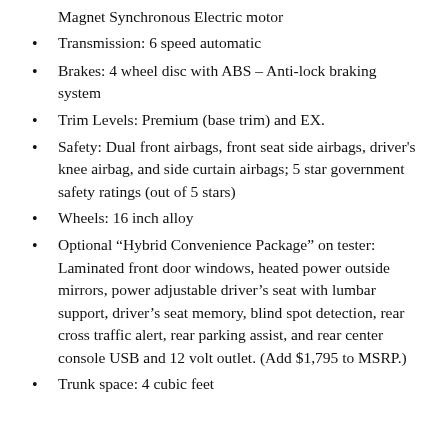Magnet Synchronous Electric motor
Transmission: 6 speed automatic
Brakes: 4 wheel disc with ABS – Anti-lock braking system
Trim Levels: Premium (base trim) and EX.
Safety: Dual front airbags, front seat side airbags, driver's knee airbag, and side curtain airbags; 5 star government safety ratings (out of 5 stars)
Wheels: 16 inch alloy
Optional “Hybrid Convenience Package” on tester: Laminated front door windows, heated power outside mirrors, power adjustable driver’s seat with lumbar support, driver’s seat memory, blind spot detection, rear cross traffic alert, rear parking assist, and rear center console USB and 12 volt outlet. (Add $1,795 to MSRP.)
Trunk space: 4 cubic feet